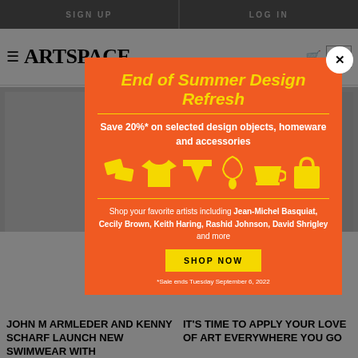SIGN UP  |  LOG IN
ARTSPACE
ON TRIAL
[Figure (screenshot): Background webpage with two article thumbnail images]
[Figure (infographic): Promotional modal popup: End of Summer Design Refresh. Save 20%* on selected design objects, homeware and accessories. Icons of design objects in yellow. Shop your favorite artists including Jean-Michel Basquiat, Cecily Brown, Keith Haring, Rashid Johnson, David Shrigley and more. SHOP NOW button. *Sale ends Tuesday September 6, 2022]
JOHN M ARMLEDER AND KENNY SCHARF LAUNCH NEW SWIMWEAR WITH
IT'S TIME TO APPLY YOUR LOVE OF ART EVERYWHERE YOU GO